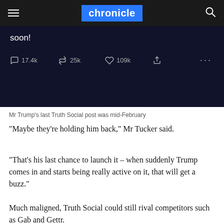chronicle
[Figure (screenshot): Dark social media post screenshot showing 'soon!' text and engagement stats: 17.4k comments, 25k retweets, 109k likes, share icon, and ellipsis menu.]
Mr Trump's last Truth Social post was mid-February
“Maybe they’re holding him back,” Mr Tucker said.
“That’s his last chance to launch it – when suddenly Trump comes in and starts being really active on it, that will get a buzz.”
Much maligned, Truth Social could still rival competitors such as Gab and Gettr.